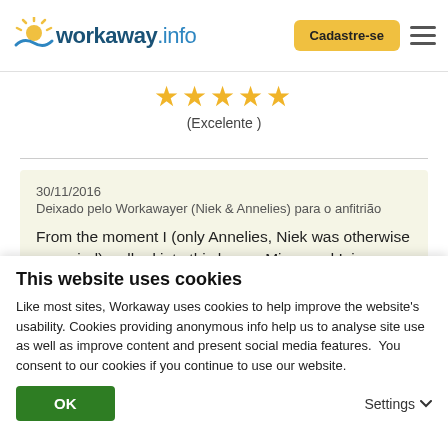workaway.info — Cadastre-se
[Figure (other): Five gold star rating with label (Excelente)]
30/11/2016
Deixado pelo Workawayer (Niek & Annelies) para o anfitrião

From the moment I (only Annelies, Niek was otherwise occupied) walked into this home, Miren and Inigo gave me a lot of trust and warmth, A very open family, and always active with teaching yoga, childcare, schooling options, building, traveling between Karrantza and the house in
This website uses cookies
Like most sites, Workaway uses cookies to help improve the website's usability. Cookies providing anonymous info help us to analyse site use as well as improve content and present social media features.  You consent to our cookies if you continue to use our website.
OK    Settings